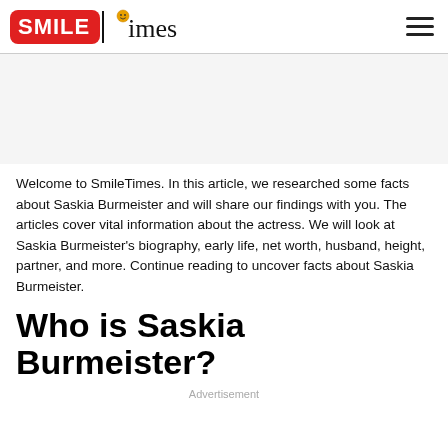SMILE times
Welcome to SmileTimes. In this article, we researched some facts about Saskia Burmeister and will share our findings with you. The articles cover vital information about the actress. We will look at Saskia Burmeister's biography, early life, net worth, husband, height, partner, and more. Continue reading to uncover facts about Saskia Burmeister.
Who is Saskia Burmeister?
Advertisement